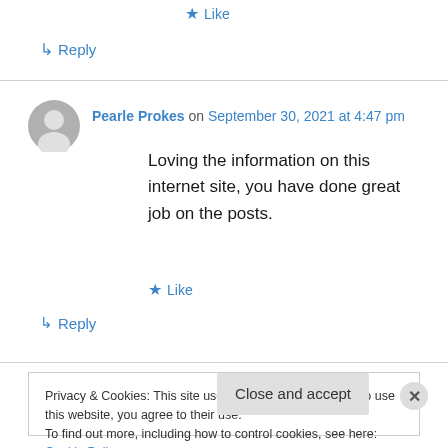★ Like
↳ Reply
Pearle Prokes on September 30, 2021 at 4:47 pm
Loving the information on this internet site, you have done great job on the posts.
★ Like
↳ Reply
Privacy & Cookies: This site uses cookies. By continuing to use this website, you agree to their use.
To find out more, including how to control cookies, see here: Cookie Policy
Close and accept